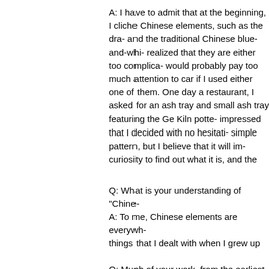A: I have to admit that at the beginning, I considered cliche Chinese elements, such as the dragon motif and the traditional Chinese blue-and-white patterns. I realized that they are either too complicated, or people would probably pay too much attention to the design of the car if I used either one of them. One day when I was at a restaurant, I asked for an ash tray and they brought a small ash tray featuring the Ge Kiln pottery glaze. I was so impressed that I decided with no hesitation. It's a very simple pattern, but I believe that it will inspire people's curiosity to find out what it is, and the sto
Q: What is your understanding of "Chine
A: To me, Chinese elements are everywhere. They are the things that I dealt with when I grew up in China — the daily objects used by people in an old Be
Q: Much of your work, from the earliest " "Beijing Welcomes You," is linked to Chi
A: Because I am Chinese, I insist that Ch